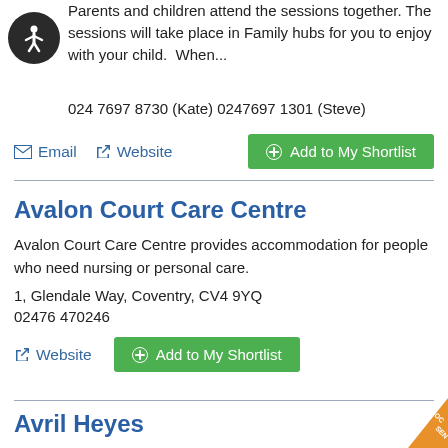Parents and children attend the sessions together. The sessions will take place in Family hubs for you to enjoy with your child.  When...
024 7697 8730 (Kate) 0247697 1301 (Steve)
Email  Website  Add to My Shortlist
Avalon Court Care Centre
Avalon Court Care Centre provides accommodation for people who need nursing or personal care.
1, Glendale Way, Coventry, CV4 9YQ
02476 470246
Website  Add to My Shortlist
Avril Heyes